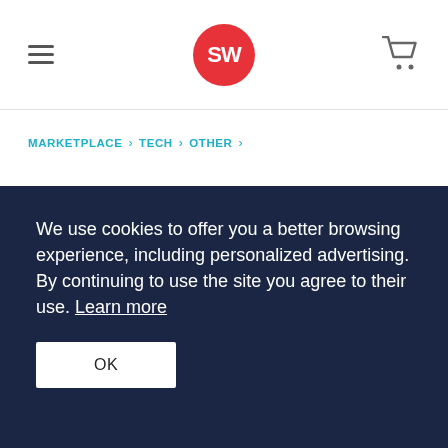SW — Navigation header with hamburger menu, SW logo, and cart icon
MARKETPLACE  >  TECH  >  OTHER  >
We use cookies to offer you a better browsing experience, including personalized advertising. By continuing to use the site you agree to their use. Learn more
OK